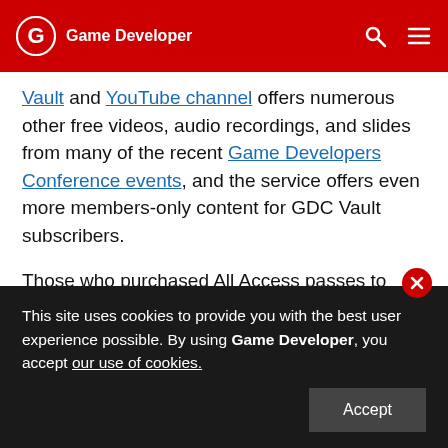Game Developer
Vault and YouTube channel offers numerous other free videos, audio recordings, and slides from many of the recent Game Developers Conference events, and the service offers even more members-only content for GDC Vault subscribers.
Those who purchased All Access passes to recent events like GDC, GDC Europe, and GDC Next already have full access to GDC Vault, and interested parties can apply for the individual subscription via a GDC Vault subscription page. Group subscription
This site uses cookies to provide you with the best user experience possible. By using Game Developer, you accept our use of cookies.